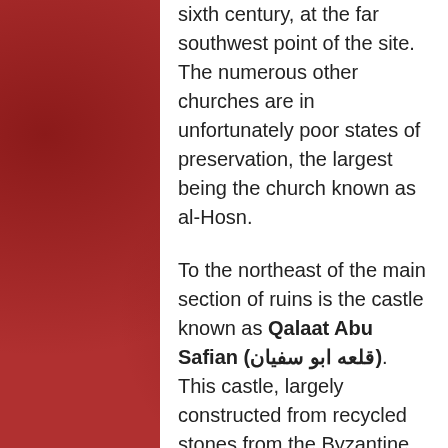sixth century, at the far southwest point of the site. The numerous other churches are in unfortunately poor states of preservation, the largest being the church known as al-Hosn.

To the northeast of the main section of ruins is the castle known as Qalaat Abu Safian (قلعه ابو سفيان). This castle, largely constructed from recycled stones from the Byzantine site, was built by Arab forces after they took control of the area from the Crusaders. This fortress remains relatively well preserved, though small in scale.